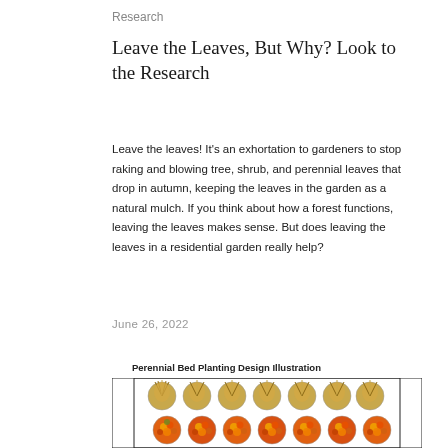Research
Leave the Leaves, But Why? Look to the Research
Leave the leaves! It's an exhortation to gardeners to stop raking and blowing tree, shrub, and perennial leaves that drop in autumn, keeping the leaves in the garden as a natural mulch. If you think about how a forest functions, leaving the leaves makes sense. But does leaving the leaves in a residential garden really help?
June 26, 2022
Perennial Bed Planting Design Illustration
[Figure (illustration): A perennial bed planting design illustration showing circular plant representations. The top row shows golden/tan ornamental grasses in circular forms, and below that are orange and yellow flowering plants (like marigolds or similar flowers) in circular forms, arranged in a garden bed with a black border.]